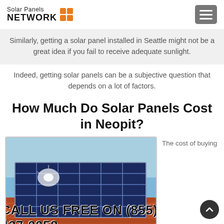Solar Panels NETWORK
Similarly, getting a solar panel installed in Seattle might not be a great idea if you fail to receive adequate sunlight.
Indeed, getting solar panels can be a subjective question that depends on a lot of factors.
How Much Do Solar Panels Cost in Neopit?
[Figure (photo): Solar panels mounted on an orange/red tiled roof against a blue sky, with sunlight reflecting off the panels.]
The cost of buying
CALL US FREE ON (855) 427-0058
and buying installing it will you a from start to it initially the